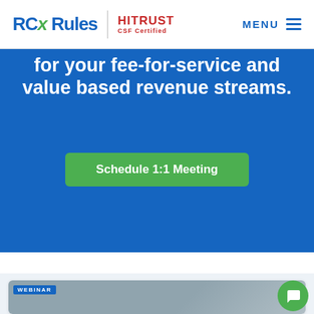RCx Rules | HITRUST CSF Certified | MENU
for your fee-for-service and value based revenue streams.
Schedule 1:1 Meeting
[Figure (screenshot): Webinar card with plant and laptop image and WEBINAR badge]
[Figure (other): Green chat bubble button]